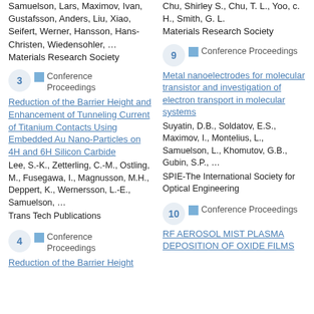Samuelson, Lars, Maximov, Ivan, Gustafsson, Anders, Liu, Xiao, Seifert, Werner, Hansson, Hans-Christen, Wiedensohler, …
Materials Research Society
Chu, Shirley S., Chu, T. L., Yoo, c. H., Smith, G. L.
Materials Research Society
3  Conference Proceedings
Reduction of the Barrier Height and Enhancement of Tunneling Current of Titanium Contacts Using Embedded Au Nano-Particles on 4H and 6H Silicon Carbide
Lee, S.-K., Zetterling, C.-M., Ostling, M., Fusegawa, I., Magnusson, M.H., Deppert, K., Wernersson, L.-E., Samuelson, …
Trans Tech Publications
9  Conference Proceedings
Metal nanoelectrodes for molecular transistor and investigation of electron transport in molecular systems
Suyatin, D.B., Soldatov, E.S., Maximov, I., Montelius, L., Samuelson, L., Khomutov, G.B., Gubin, S.P., …
SPIE-The International Society for Optical Engineering
4  Conference Proceedings
Reduction of the Barrier Height
10  Conference Proceedings
RF AEROSOL MIST PLASMA DEPOSITION OF OXIDE FILMS